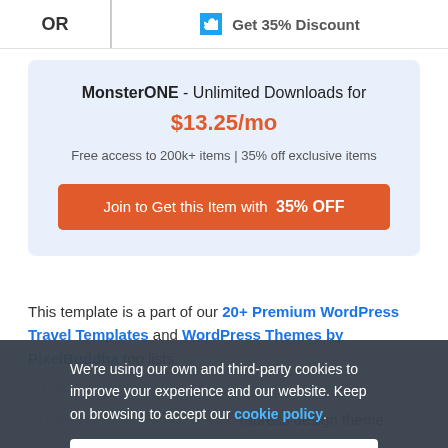OK
Get 35% Discount
MonsterONE - Unlimited Downloads for $13.25/mo
Free access to 200k+ items | 35% off exclusive items
Join to Get this Item with 35% OFF
This template is a part of our 20+ Premium WordPress Travel Templates and WordPress Themes by PixelBuddha top lists.
The template is also part of the Creative Agency WordPress design theme
Wh
We're using our own and third-party cookies to improve your experience and our website. Keep on browsing to accept our cookie policy.
Accept